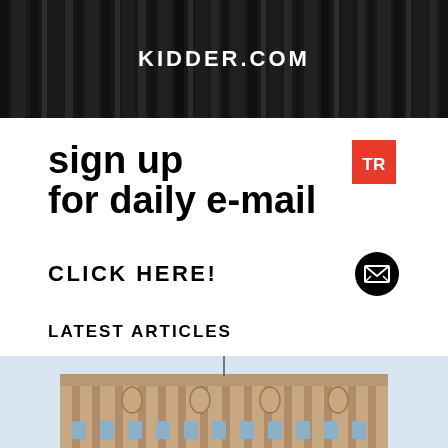[Figure (screenshot): Dark banner with vertical column-like texture and KIDDER.COM text in white bold capitals]
[Figure (logo): Red square badge with white bold letters TR]
sign up for daily e-mail
CLICK HERE!
LATEST ARTICLES
[Figure (photo): Photo of ornate multi-story building facade against light blue sky]